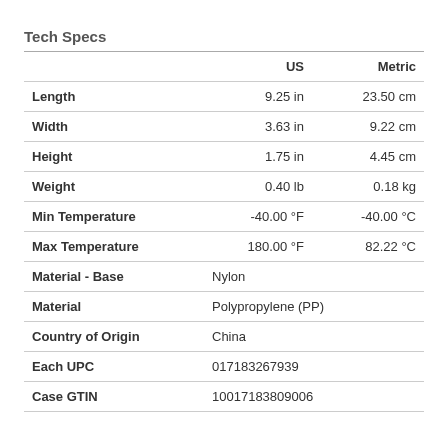Tech Specs
|  | US | Metric |
| --- | --- | --- |
| Length | 9.25 in | 23.50 cm |
| Width | 3.63 in | 9.22 cm |
| Height | 1.75 in | 4.45 cm |
| Weight | 0.40 lb | 0.18 kg |
| Min Temperature | -40.00 °F | -40.00 °C |
| Max Temperature | 180.00 °F | 82.22 °C |
| Material - Base | Nylon |  |
| Material | Polypropylene (PP) |  |
| Country of Origin | China |  |
| Each UPC | 017183267939 |  |
| Case GTIN | 10017183809006 |  |